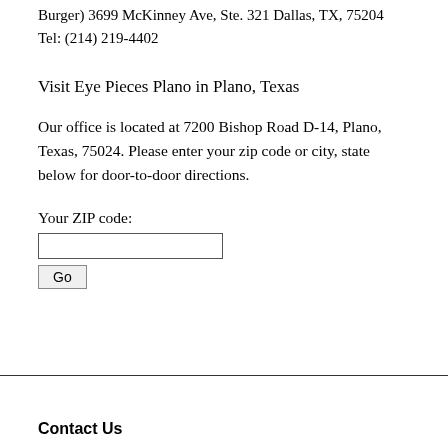Burger) 3699 McKinney Ave, Ste. 321 Dallas, TX, 75204
Tel: (214) 219-4402
Visit Eye Pieces Plano in Plano, Texas
Our office is located at 7200 Bishop Road D-14, Plano, Texas, 75024. Please enter your zip code or city, state below for door-to-door directions.
Your ZIP code:
Go
Contact Us